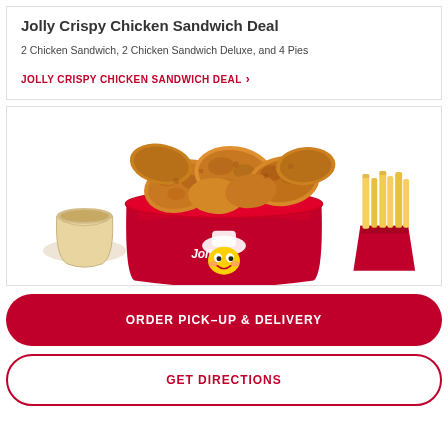Jolly Crispy Chicken Sandwich Deal
2 Chicken Sandwich, 2 Chicken Sandwich Deluxe, and 4 Pies
JOLLY CRISPY CHICKEN SANDWICH DEAL >
[Figure (photo): Jollibee red bucket overflowing with crispy fried chicken, flanked by a cup of gravy on the left and a pack of french fries on the right. The Jollibee mascot logo is on the red bucket.]
ORDER PICK-UP & DELIVERY
GET DIRECTIONS